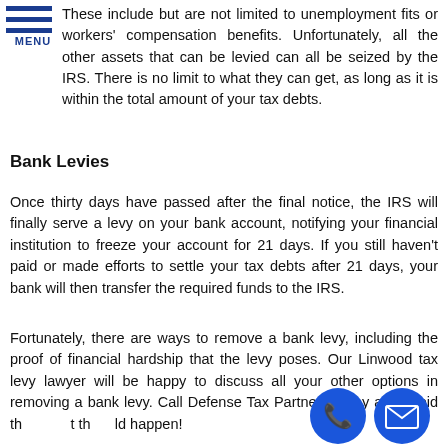MENU
These include but are not limited to unemployment fits or workers' compensation benefits. Unfortunately, all the other assets that can be levied can all be seized by the IRS. There is no limit to what they can get, as long as it is within the total amount of your tax debts.
Bank Levies
Once thirty days have passed after the final notice, the IRS will finally serve a levy on your bank account, notifying your financial institution to freeze your account for 21 days. If you still haven't paid or made efforts to settle your tax debts after 21 days, your bank will then transfer the required funds to the IRS.
Fortunately, there are ways to remove a bank levy, including the proof of financial hardship that the levy poses. Our Linwood tax levy lawyer will be happy to discuss all your other options in removing a bank levy. Call Defense Tax Partners today and avoid the at the uld happen!